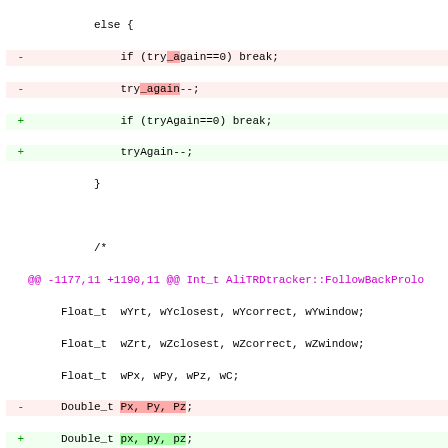Code diff showing changes to AliTRDtracker::FollowBackProlongation function, including variable renaming (try_again to tryAgain, Px/Py/Pz to px/py/pz, rad_length to radLength) and hunk headers.